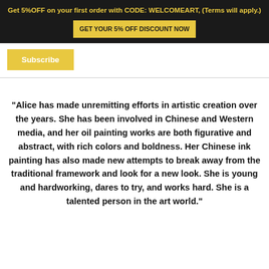Get 5%OFF on your first order with CODE: WELCOMEART, (Terms will apply.) GET YOUR 5% OFF DISCOUNT NOW
Subscribe
"Alice has made unremitting efforts in artistic creation over the years. She has been involved in Chinese and Western media, and her oil painting works are both figurative and abstract, with rich colors and boldness. Her Chinese ink painting has also made new attempts to break away from the traditional framework and look for a new look. She is young and hardworking, dares to try, and works hard. She is a talented person in the art world."